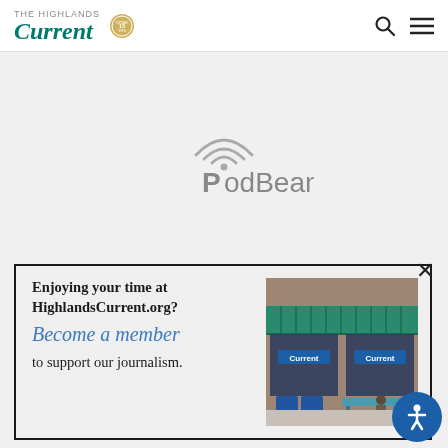The Highlands Current
[Figure (logo): PodBean podcast player logo with dots below]
Enjoying your time at HighlandsCurrent.org? Become a member to support our journalism.
[Figure (photo): Storefront of The Highlands Current newspaper office with green awning and blue newspaper boxes]